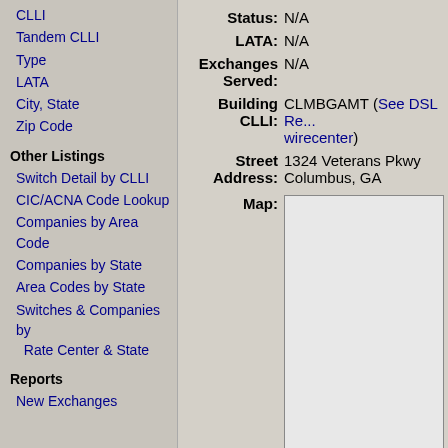CLLI
Tandem CLLI
Type
LATA
City, State
Zip Code
Other Listings
Switch Detail by CLLI
CIC/ACNA Code Lookup
Companies by Area Code
Companies by State
Area Codes by State
Switches & Companies by Rate Center & State
Reports
New Exchanges
| Field | Value |
| --- | --- |
| Status: | N/A |
| LATA: | N/A |
| Exchanges Served: | N/A |
| Building CLLI: | CLMBGAMT (See DSL Re... wirecenter) |
| Street Address: | 1324 Veterans Pkwy Columbus, GA |
| Map: |  |